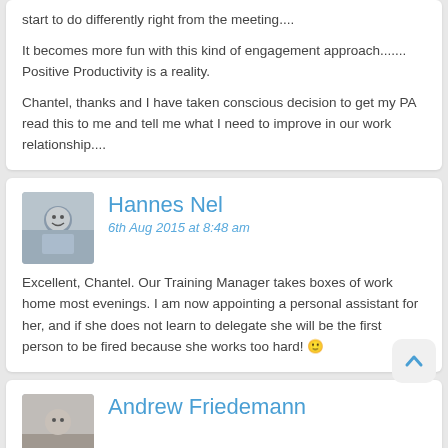start to do differently right from the meeting....
It becomes more fun with this kind of engagement approach....... Positive Productivity is a reality.
Chantel, thanks and I have taken conscious decision to get my PA read this to me and tell me what I need to improve in our work relationship....
Hannes Nel
6th Aug 2015 at 8:48 am
Excellent, Chantel. Our Training Manager takes boxes of work home most evenings. I am now appointing a personal assistant for her, and if she does not learn to delegate she will be the first person to be fired because she works too hard! 🙂
Andrew Friedemann